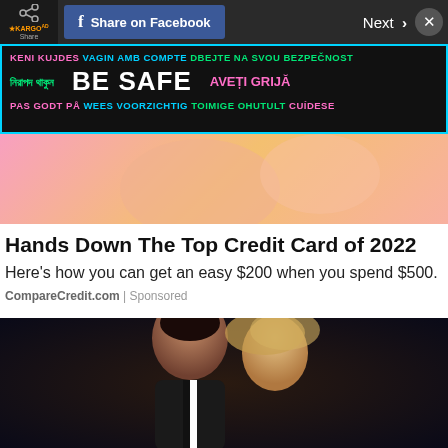Share on Facebook | Next
[Figure (screenshot): COVID-19 BE SAFE multilingual public health advertisement banner with colorful text in multiple languages including Bengali, Romanian, Dutch, Finnish, Spanish]
[Figure (photo): Partial view of a pink and orange background, possibly hands or decorative elements]
Hands Down The Top Credit Card of 2022
Here's how you can get an easy $200 when you spend $500.
CompareCredit.com | Sponsored
[Figure (photo): Portrait of a male and female couple against a dark blue background, man with dark hair in suit, woman with blonde hair]